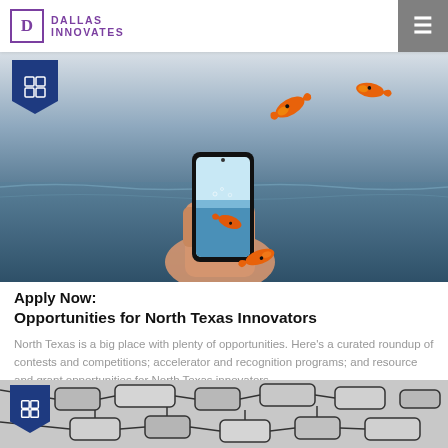Dallas Innovates
[Figure (photo): Hand holding a smartphone with goldfish leaping out of the screen against an ocean/sky background, symbolizing innovation escaping digital confines. A building/grid badge icon appears in upper left corner.]
Apply Now: Opportunities for North Texas Innovators
North Texas is a big place with plenty of opportunities. Here's a curated roundup of contests and competitions; accelerator and recognition programs; and resource and grant opportunities for North Texas innovators. ...
[Figure (photo): Abstract network/connection diagram with rounded rectangles connected by lines on a gray background, with a Dallas Innovates badge in upper left corner.]